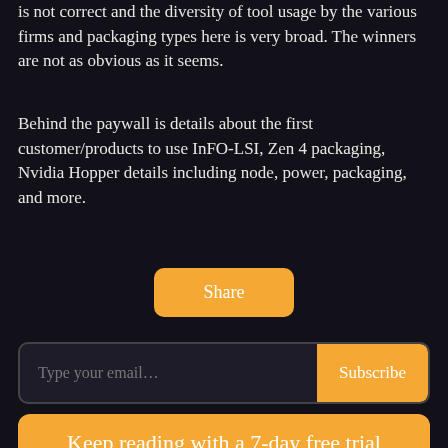is not correct and the diversity of tool usage by the various firms and packaging types here is very broad. The winners are not as obvious as it seems.
Behind the paywall is details about the first customer/products to use InFO-LSI, Zen 4 packaging, Nvidia Hopper details including node, power, packaging, and more.
[Figure (other): Share button — orange rounded rectangle with white text 'Share']
[Figure (other): Email subscription bar with placeholder 'Type your email...' and an orange 'Subscribe' button on the right]
[Figure (other): Orange call-to-action box: 'Keep reading with a 7-day free trial' and 'Subscribe to SemiAnalysis to keep reading']